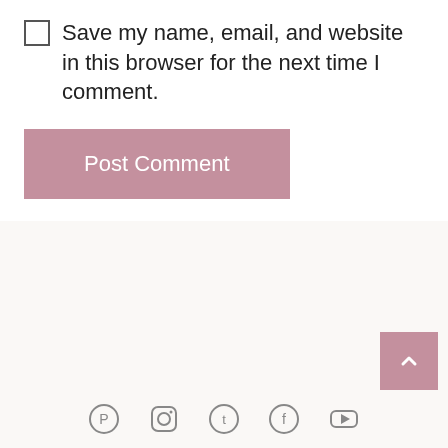Save my name, email, and website in this browser for the next time I comment.
[Figure (other): Post Comment button — a mauve/pink rectangular button with white text reading 'Post Comment']
[Figure (logo): Cozy Mattress logo — a circular badge with scalloped/wavy red-orange border, script text reading 'Cozy Mattress' in red-orange, and a small URL at the bottom]
[Figure (other): Back to top button — a mauve square button with an upward-pointing chevron/caret arrow in white]
[Figure (other): Social media icons row at the bottom — partially visible icons for various social networks]